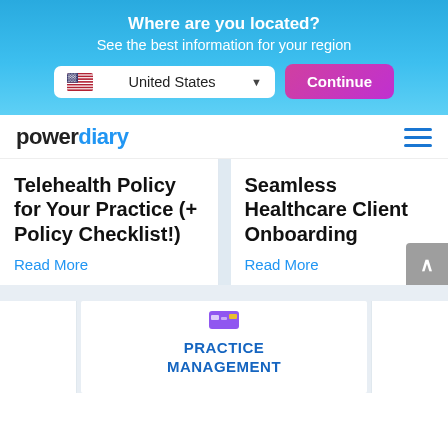Where are you located?
See the best information for your region
United States
Continue
[Figure (logo): Power Diary logo — 'power' in dark text, 'diary' in blue]
Telehealth Policy for Your Practice (+ Policy Checklist!)
Read More
Seamless Healthcare Client Onboarding
Read More
PRACTICE MANAGEMENT